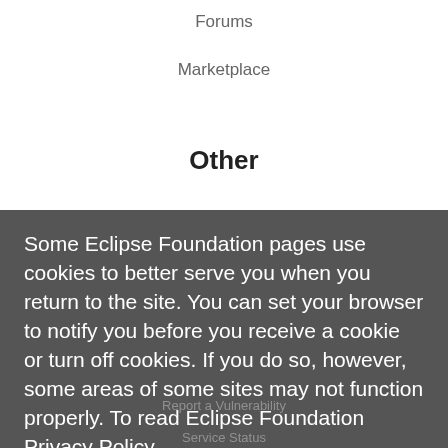Forums
Marketplace
Other
IDE and Tools
Projects
Working Groups
Some Eclipse Foundation pages use cookies to better serve you when you return to the site. You can set your browser to notify you before you receive a cookie or turn off cookies. If you do so, however, some areas of some sites may not function properly. To read Eclipse Foundation Privacy Policy click here.
Report a Vulnerability
Service Status
Copyright © Eclipse Foundation. All Rights Reserved.
Decline
Allow cookies